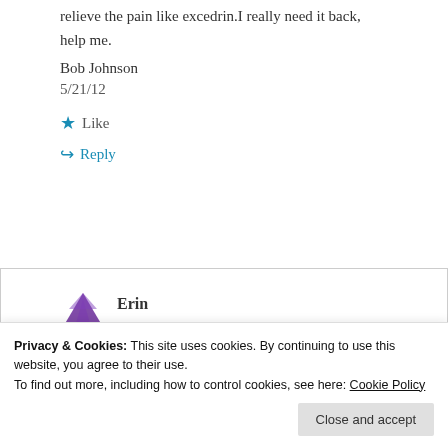relieve the pain like excedrin.I really need it back, help me.
Bob Johnson
5/21/12
★ Like
↪ Reply
[Figure (illustration): Purple avatar icon for user Erin]
Erin
Privacy & Cookies: This site uses cookies. By continuing to use this website, you agree to their use. To find out more, including how to control cookies, see here: Cookie Policy
Close and accept
listed on the package are the same, any